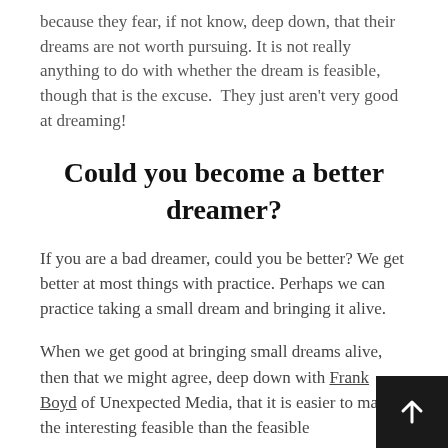because they fear, if not know, deep down, that their dreams are not worth pursuing. It is not really anything to do with whether the dream is feasible, though that is the excuse.  They just aren't very good at dreaming!
Could you become a better dreamer?
If you are a bad dreamer, could you be better? We get better at most things with practice. Perhaps we can practice taking a small dream and bringing it alive.
When we get good at bringing small dreams alive, then that we might agree, deep down with Frank Boyd of Unexpected Media, that it is easier to make the interesting feasible than the feasible